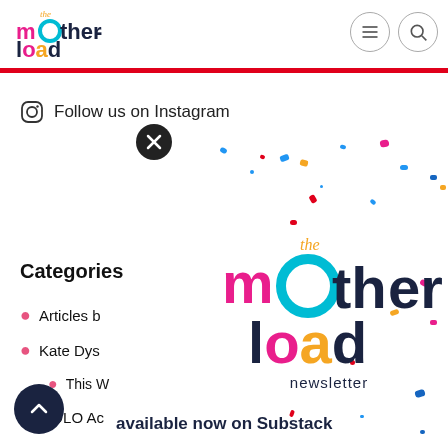[Figure (logo): The Motherload website header with colorful logo (pink 'm', teal 'o', dark navy 'ther', yellow 'load') and hamburger menu / search icons in circular borders]
Follow us on Instagram
Categories
Articles b…
Kate Dys…
This W…
MOLO Ac…
MOLO H…
[Figure (logo): The Motherload newsletter logo with colourful confetti and text 'available now on Substack']